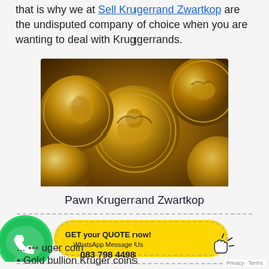that is why we at Sell Krugerrand Zwartkop are the undisputed company of choice when you are wanting to deal with Kruggerrands.
[Figure (photo): Close-up photo of multiple gold coins with eagle and portrait designs, Kruggerrand/gold coin collection]
Pawn Krugerrand Zwartkop
[Figure (infographic): WhatsApp call-to-action banner with green WhatsApp logo, yellow pill-shaped button reading 'GET your QUOTE now! WhatsApp Message Us 083 798 4498' with pointing hand icon]
... Kruger coin
Gold bullion Kruger coins